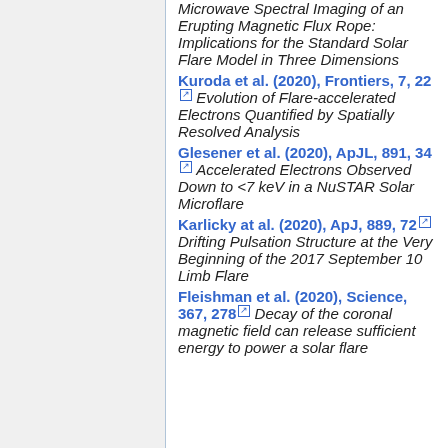Microwave Spectral Imaging of an Erupting Magnetic Flux Rope: Implications for the Standard Solar Flare Model in Three Dimensions
Kuroda et al. (2020), Frontiers, 7, 22 Evolution of Flare-accelerated Electrons Quantified by Spatially Resolved Analysis
Glesener et al. (2020), ApJL, 891, 34 Accelerated Electrons Observed Down to <7 keV in a NuSTAR Solar Microflare
Karlicky at al. (2020), ApJ, 889, 72 Drifting Pulsation Structure at the Very Beginning of the 2017 September 10 Limb Flare
Fleishman et al. (2020), Science, 367, 278 Decay of the coronal magnetic field can release sufficient energy to power a solar flare